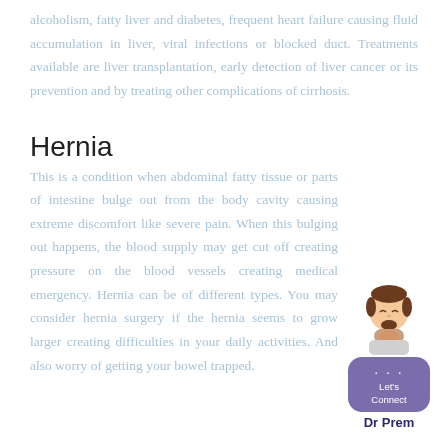alcoholism, fatty liver and diabetes, frequent heart failure causing fluid accumulation in liver, viral infections or blocked duct. Treatments available are liver transplantation, early detection of liver cancer or its prevention and by treating other complications of cirrhosis.
Hernia
This is a condition when abdominal fatty tissue or parts of intestine bulge out from the body cavity causing extreme discomfort like severe pain. When this bulging out happens, the blood supply may get cut off creating pressure on the blood vessels creating medical emergency. Hernia can be of different types. You may consider hernia surgery if the hernia seems to grow larger creating difficulties in your daily activities. And also worry of getting your bowel trapped.
[Figure (illustration): Cartoon avatar of Dr Prem with a chat bubble showing 'Let's Connect' and Dr Prem logo below]